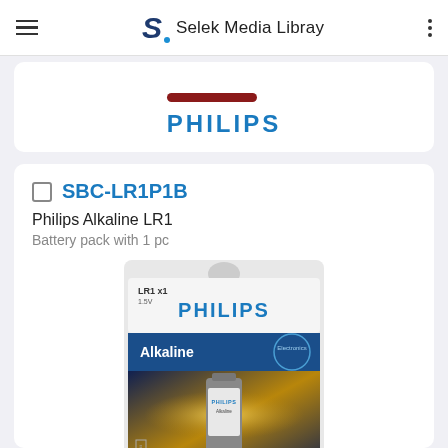Selek Media Libray
[Figure (logo): Philips brand logo text in blue with red bar above]
SBC-LR1P1B
Philips Alkaline LR1
Battery pack with 1 pc
[Figure (photo): Philips Alkaline LR1 battery in blister packaging. Blue and gold background, battery labeled PHILIPS Alkaline, LR1 x1 1.5V.]